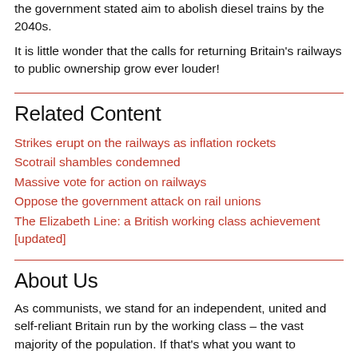the government stated aim to abolish diesel trains by the 2040s.
It is little wonder that the calls for returning Britain's railways to public ownership grow ever louder!
Related Content
Strikes erupt on the railways as inflation rockets
Scotrail shambles condemned
Massive vote for action on railways
Oppose the government attack on rail unions
The Elizabeth Line: a British working class achievement [updated]
About Us
As communists, we stand for an independent, united and self-reliant Britain run by the working class – the vast majority of the population. If that's what you want to